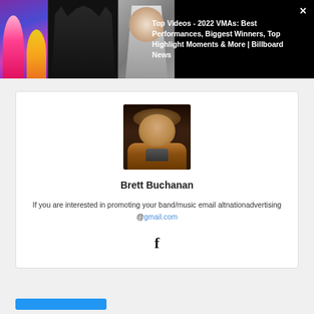[Figure (screenshot): Video banner at top showing multiple thumbnail images and a title. Three image thumbnails on left showing concert/event photos, and a text area on right with a close button.]
Top Videos - 2022 VMAs: Best Performances, Biggest Winners, Top Highlight Moments & More | Billboard News
[Figure (photo): Portrait photo of Brett Buchanan, a young man with curly hair wearing a brown leather jacket against a dark background.]
Brett Buchanan
If you are interested in promoting your band/music email altnationadvertising @gmail.com
[Figure (logo): Facebook icon (letter f)]